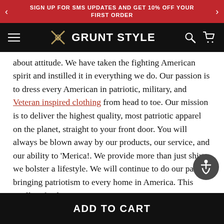SIGN UP FOR SMS UPDATES AND GET 10% OFF YOUR FIRST ORDER
[Figure (logo): Grunt Style navigation bar with hamburger menu, crossed rifles logo, brand name 'GRUNT STYLE', search icon, and cart icon on black background]
about attitude. We have taken the fighting American spirit and instilled it in everything we do. Our passion is to dress every American in patriotic, military, and Veteran inspired clothing from head to toe. Our mission is to deliver the highest quality, most patriotic apparel on the planet, straight to your front door. You will always be blown away by our products, our service, and our ability to 'Merica!. We provide more than just shirts; we bolster a lifestyle. We will continue to do our part in bringing patriotism to every home in America. This We'll Defend.
ADD TO CART